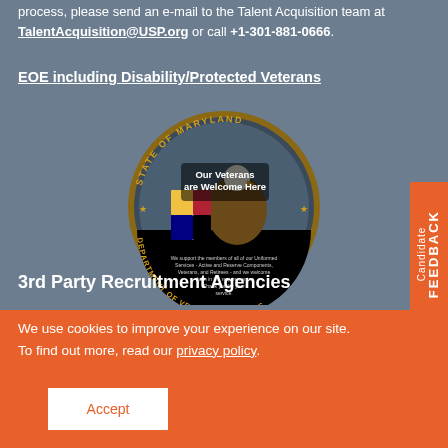process, please send an e-mail to the Talent Acquisition team at TalentAcquisition@USP.org or call +1-301-881-0666.
EOE including Disability/Protected Veterans
[Figure (logo): Circular seal of the Maryland Department of Veterans Affairs with text 'Our Veterans are Welcome Here' and an eagle with American flag imagery]
3rd Party Recruitment Agencies
We use cookies to improve your experience on our site. To find out more, read our privacy policy.
Accept